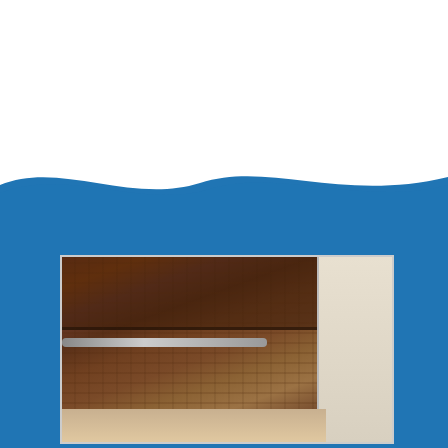installing all of our products and systems. This means that we will be able to get the work finished fast so that you and your family can get on with your lives.
[Figure (photo): Interior photo of a crawl space showing reflective insulation installed on walls and under floor joists, with a pipe running horizontally and a concrete support column on the right side.]